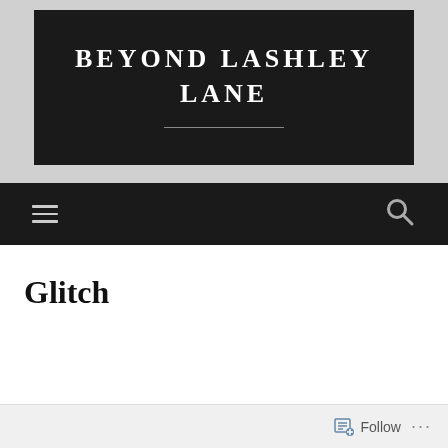[Figure (screenshot): Website header screenshot showing 'Beyond Lashley Lane' blog title on dark background with gray surround, navigation bar with hamburger menu and search icon, page title 'Glitch', and a follow bar at the bottom.]
BEYOND LASHLEY LANE
Glitch
Follow